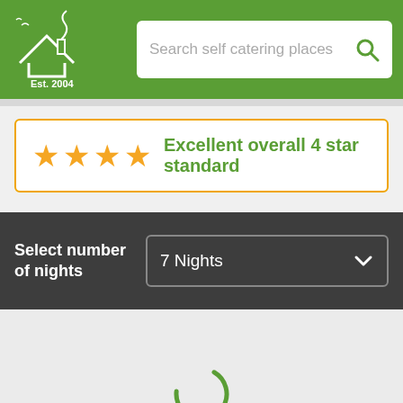[Figure (screenshot): Website header with green background, house logo with 'Est. 2004' text, and a search bar reading 'Search self catering places' with a search icon]
Excellent overall 4 star standard
Select number of nights
7 Nights
[Figure (other): Loading spinner — a partial green circle arc indicating content is loading]